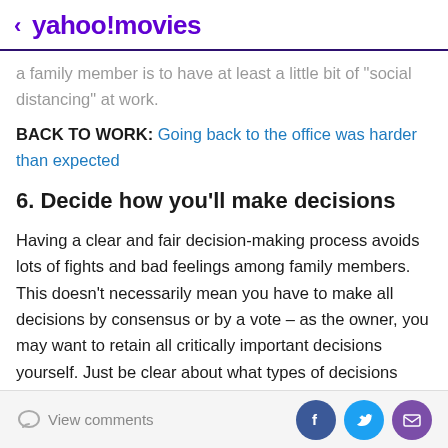< yahoo!movies
...the best way to work with a family member is to have at least a little bit of "social distancing" at work.
BACK TO WORK: Going back to the office was harder than expected
6. Decide how you'll make decisions
Having a clear and fair decision-making process avoids lots of fights and bad feelings among family members. This doesn't necessarily mean you have to make all decisions by consensus or by a vote – as the owner, you may want to retain all critically important decisions yourself. Just be clear about what types of decisions
View comments